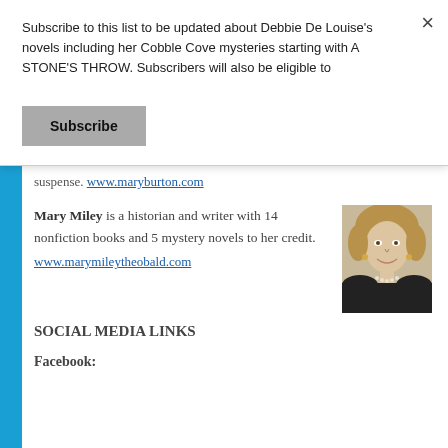Subscribe to this list to be updated about Debbie De Louise's novels including her Cobble Cove mysteries starting with A STONE'S THROW. Subscribers will also be eligible to
Subscribe
suspense. www.maryburton.com
Mary Miley is a historian and writer with 14 nonfiction books and 5 mystery novels to her credit. www.marymileytheobald.com
[Figure (photo): Headshot photo of Mary Miley, a woman with short blonde hair, wearing a dark top and pearl necklace, smiling.]
SOCIAL MEDIA LINKS
Facebook: